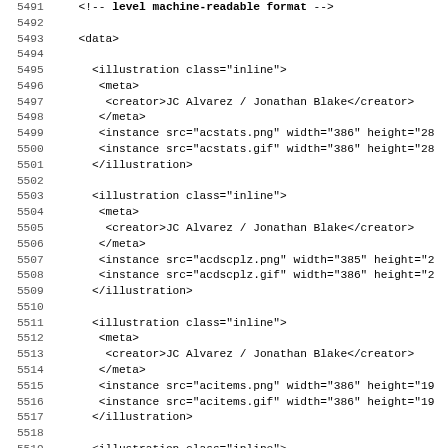Code listing showing XML/markup content with line numbers 5491-5523, featuring <data>, <illustration>, <meta>, <creator>, <instance> XML tags with attributes for JC Alvarez / Jonathan Blake creator, and various image source files (acstats.png, acstats.gif, acdscplz.png, acdscplz.gif, acitems.png, acitems.gif, acbcknck.png) with width and height attributes.